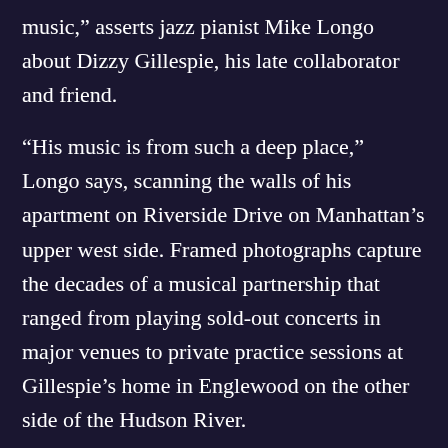music,” asserts jazz pianist Mike Longo about Dizzy Gillespie, his late collaborator and friend.
“His music is from such a deep place,” Longo says, scanning the walls of his apartment on Riverside Drive on Manhattan’s upper west side. Framed photographs capture the decades of a musical partnership that ranged from playing sold-out concerts in major venues to private practice sessions at Gillespie’s home in Englewood on the other side of the Hudson River.
♫ LISTEN ONLINE ▾
MyStar95.com
Positive Hits and More
• LIVE
► 0:00 / 0:00